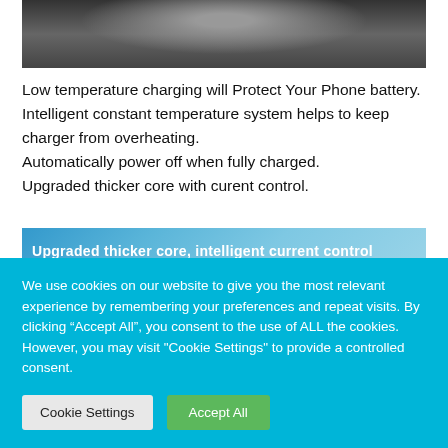[Figure (photo): Close-up photo of a car phone mount/charger device, dark metallic tones]
Low temperature charging will Protect Your Phone battery. Intelligent constant temperature system helps to keep charger from overheating.
Automatically power off when fully charged.
Upgraded thicker core with curent control.
[Figure (photo): Product image with text overlay: Upgraded thicker core, intelligent current control, shown on blue/teal background]
We use cookies on our website to give you the most relevant experience by remembering your preferences and repeat visits. By clicking “Accept All”, you consent to the use of ALL the cookies. However, you may visit "Cookie Settings" to provide a controlled consent.